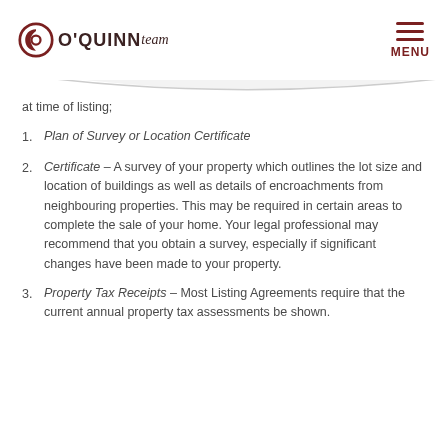O'QUINN team — MENU
at time of listing;
Plan of Survey or Location Certificate
Certificate – A survey of your property which outlines the lot size and location of buildings as well as details of encroachments from neighbouring properties. This may be required in certain areas to complete the sale of your home. Your legal professional may recommend that you obtain a survey, especially if significant changes have been made to your property.
Property Tax Receipts – Most Listing Agreements require that the current annual property tax assessments be shown.